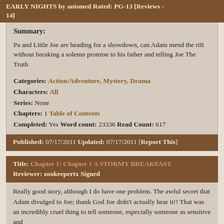EARLY NIGHTS by anismed Rated: PG-13 [Reviews - 14]
Summary:

Pa and Little Joe are heading for a showdown, can Adam mend the rift without breaking a solemn promise to his father and telling Joe The Truth

Categories: Action/Adventure, Mystery, Drama
Characters: All
Series: None
Chapters: 1 Table of Contents
Completed: Yes Word count: 23336 Read Count: 617
Published: 07/17/2011 Updated: 07/17/2011 [Report This]
Title: Chapter 1: Chapter 1 A STORMY BREAKFAST
Reviewer: zookeepertx Signed
Really good story, although I do have one problem. The awful secret that Adam divulged to Joe; thank God Joe didn't actually hear it!! That was an incredibly cruel thing to tell someone, especially someone as sensitive and